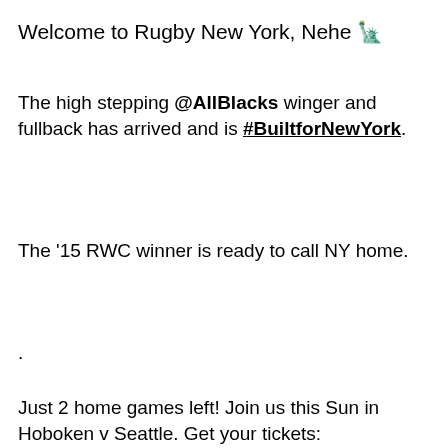Welcome to Rugby New York, Nehe 🗽
The high stepping @AllBlacks winger and fullback has arrived and is #BuiltforNewYork.
The '15 RWC winner is ready to call NY home.
.
Just 2 home games left! Join us this Sun in Hoboken v Seattle. Get your tickets: bit.ly/3Fyu7Ic
[Figure (photo): A rugby player with mouth open, wearing a dark jersey, photographed against a dark background]